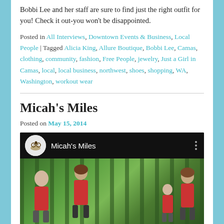Bobbi Lee and her staff are sure to find just the right outfit for you! Check it out-you won't be disappointed.
Posted in All Interviews, Downtown Events & Business, Local People | Tagged Alicia King, Allure Boutique, Bobbi Lee, Camas, clothing, community, fashion, Free People, jewelry, Just a Girl in Camas, local, local business, northwest, shoes, shopping, WA, Washington, workout wear
Micah's Miles
Posted on May 15, 2014
[Figure (screenshot): Embedded video thumbnail showing 'Micah's Miles' with a circular logo icon and people in red t-shirts running or walking outdoors in a wooded area.]